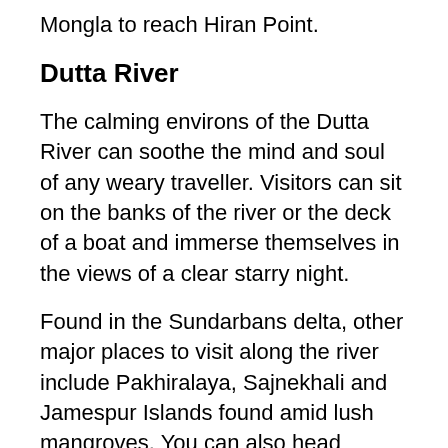Mongla to reach Hiran Point.
Dutta River
The calming environs of the Dutta River can soothe the mind and soul of any weary traveller. Visitors can sit on the banks of the river or the deck of a boat and immerse themselves in the views of a clear starry night.
Found in the Sundarbans delta, other major places to visit along the river include Pakhiralaya, Sajnekhali and Jamespur Islands found amid lush mangroves. You can also head towards Panchmukhani, where five